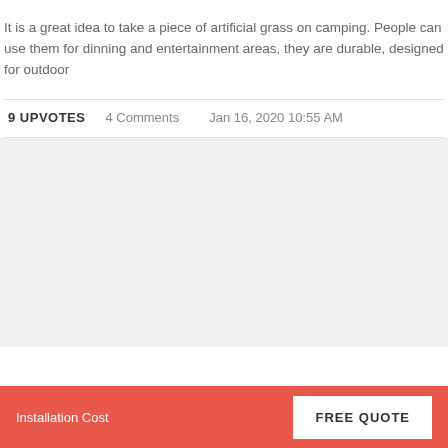It is a great idea to take a piece of artificial grass on camping. People can use them for dinning and entertainment areas, they are durable, designed for outdoor
9 UPVOTES   4 Comments   Jan 16, 2020 10:55 AM
Installation Cost
FREE QUOTE